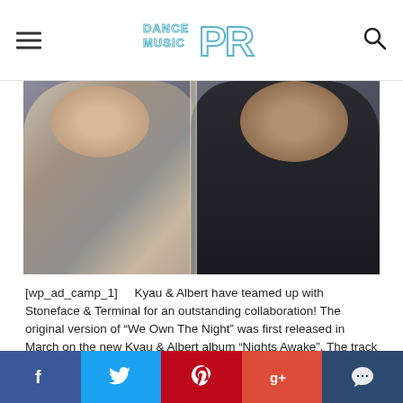Dance Music PR
[Figure (photo): Two young men photographed together, one wearing a light jacket on the left, one wearing a dark shirt on the right, standing close together against a textured background]
[wp_ad_camp_1]   Kyau & Albert have teamed up with Stoneface & Terminal for an outstanding collaboration! The original version of “We Own The Night” was first released in March on the new Kyau & Albert album “Nights Awake”. The track pays homage to all the party people around the world who celebrate great club nights together with these touring Euphonic artists.
f  •  Twitter bird  •  Pinterest  •  g+  •  comment